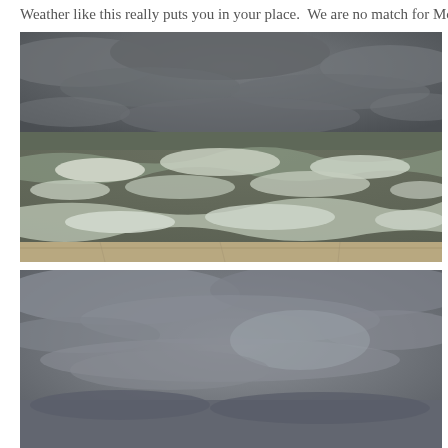Weather like this really puts you in your place.  We are no match for Mother
[Figure (photo): Stormy ocean scene with large crashing waves and foam on a grey overcast day, viewed from a low concrete sea wall or barrier. Dark grey clouds fill the sky, choppy turbulent water visible to the horizon.]
[Figure (photo): Grey overcast sky with clouds, appearing to be the beginning of a second stormy coastal scene photo, cropped at the bottom of the page.]